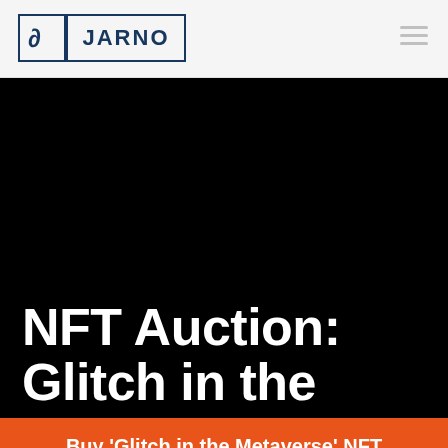JARNO
NFT Auction: Glitch in the Metaverse
Buy 'Glitch in the Metaverse' NFT